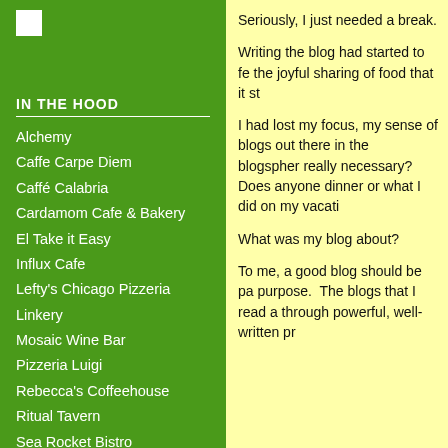[Figure (logo): Small white square logo]
IN THE HOOD
Alchemy
Caffe Carpe Diem
Caffé Calabria
Cardamom Cafe & Bakery
El Take it Easy
Influx Cafe
Lefty's Chicago Pizzeria
Linkery
Mosaic Wine Bar
Pizzeria Luigi
Rebecca's Coffeehouse
Ritual Tavern
Sea Rocket Bistro
Smoking Goat
Station Tavern
The Grove
Whistle Stop Bar
Seriously, I just needed a break.
Writing the blog had started to fe... the joyful sharing of food that it st...
I had lost my focus, my sense of... blogs out there in the blogospher... really necessary?   Does anyone... dinner or what I did on my vacati...
What was my blog about?
To me, a good blog should be pa... purpose.  The blogs that I read a... through powerful, well-written pr...